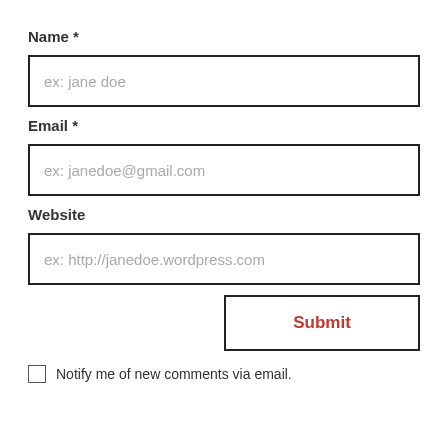Name *
[Figure (screenshot): Text input field with placeholder text 'ex: jane doe']
Email *
[Figure (screenshot): Text input field with placeholder text 'ex: janedoe@gmail.com']
Website
[Figure (screenshot): Text input field with placeholder text 'ex: http://janedoe.wordpress.com']
[Figure (screenshot): Submit button with red text 'Submit']
Notify me of new comments via email.